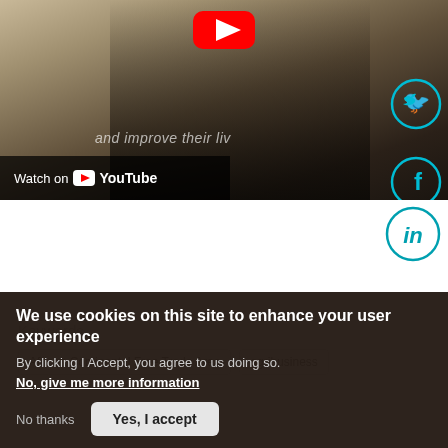[Figure (screenshot): YouTube video thumbnail showing a man in a suit at a desk, with YouTube play button logo at top center, Twitter and Facebook social share icons on the right, text overlay 'and improve their liv' in italic, and a 'Watch on YouTube' bar at the bottom left.]
[Figure (logo): LinkedIn circular icon (in) in teal/cyan outline style]
Keywords
African Continental Free Trade Area   agribusiness
We use cookies on this site to enhance your user experience
By clicking I Accept, you agree to us doing so.
No, give me more information
No thanks
Yes, I accept